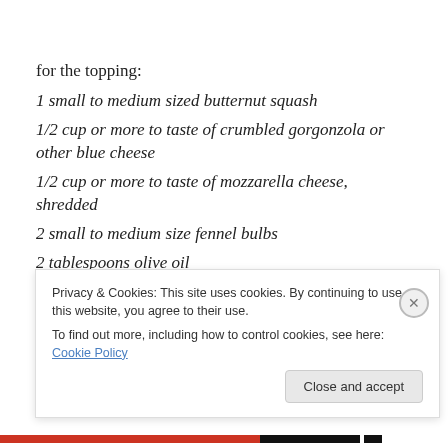for the topping:
1 small to medium sized butternut squash
1/2 cup or more to taste of crumbled gorgonzola or other blue cheese
1/2 cup or more to taste of mozzarella cheese, shredded
2 small to medium size fennel bulbs
2 tablespoons olive oil
big pinch of fresh ground black pepper
Privacy & Cookies: This site uses cookies. By continuing to use this website, you agree to their use.
To find out more, including how to control cookies, see here: Cookie Policy
Close and accept